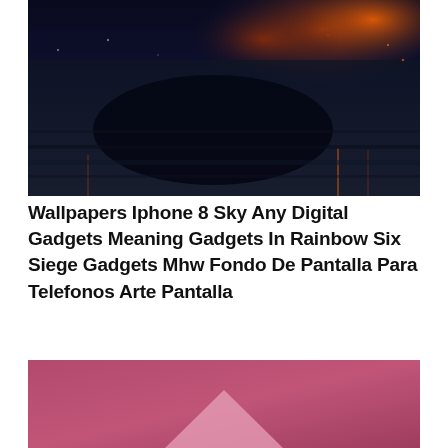[Figure (photo): Dark nighttime cityscape photo with bokeh lights in orange and red tones, showing a blurred car or vehicle silhouette in the foreground against a dark blue-black background with city lights]
Wallpapers Iphone 8 Sky Any Digital Gadgets Meaning Gadgets In Rainbow Six Siege Gadgets Mhw Fondo De Pantalla Para Telefonos Arte Pantalla
[Figure (photo): Pink and mauve gradient background with a light pink triangle shape at the bottom center]